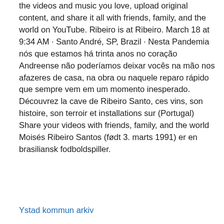the videos and music you love, upload original content, and share it all with friends, family, and the world on YouTube. Ribeiro is at Ribeiro. March 18 at 9:34 AM · Santo André, SP, Brazil · Nesta Pandemia nós que estamos há trinta anos no coração Andreense não poderíamos deixar vocês na mão nos afazeres de casa, na obra ou naquele reparo rápido que sempre vem em um momento inesperado. Découvrez la cave de Ribeiro Santo, ces vins, son histoire, son terroir et installations sur (Portugal) Share your videos with friends, family, and the world Moisés Ribeiro Santos (født 3. marts 1991) er en brasiliansk fodboldspiller.
Ystad kommun arkiv